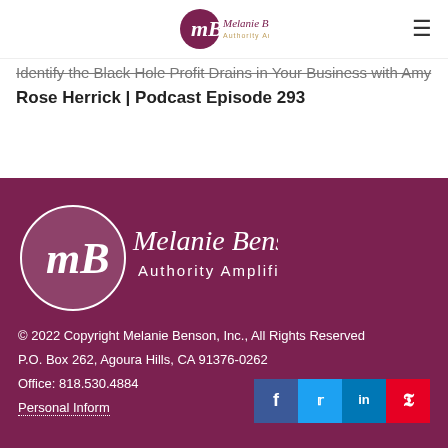Melanie Benson Authority Amplifier
Identify the Black Hole Profit Drains in Your Business with Amy Rose Herrick | Podcast Episode 293
[Figure (logo): Melanie Benson Authority Amplifier logo in white on dark maroon background]
© 2022 Copyright Melanie Benson, Inc., All Rights Reserved
P.O. Box 262, Agoura Hills, CA 91376-0262
Office: 818.530.4884
Personal Inform...